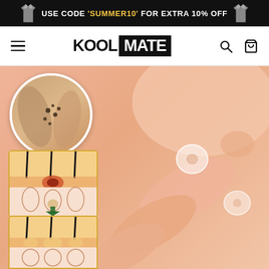USE CODE 'SUMMER10' FOR EXTRA 10% OFF
[Figure (logo): KOOL MATE brand logo with hamburger menu, search and cart icons]
[Figure (photo): Close-up of person applying a small round pimple/blackhead patch on chin area, with circular magnified inset showing blackheads in pores, and two cross-section skin diagrams at bottom left showing hair follicle and blackhead extraction process]